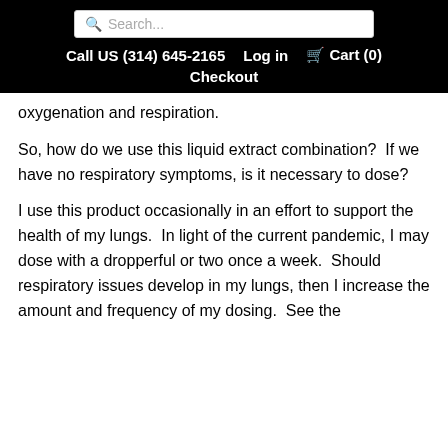Search... | Call US (314) 645-2165 | Log in | Cart (0) | Checkout
oxygenation and respiration.
So, how do we use this liquid extract combination?  If we have no respiratory symptoms, is it necessary to dose?
I use this product occasionally in an effort to support the health of my lungs.  In light of the current pandemic, I may dose with a dropperful or two once a week.  Should respiratory issues develop in my lungs, then I increase the amount and frequency of my dosing.  See the